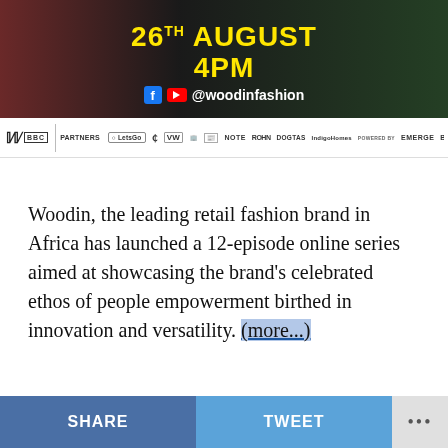[Figure (photo): Woodin fashion brand promotional banner showing '26TH AUGUST 4PM' with Facebook and YouTube icons and @woodinfashion handle, over a dark background with colorful fashion models]
[Figure (logo): Partners bar showing Woodin logo, BBC logo, LetsGo, and multiple sponsor/partner logos including VW, ROM, NOTE, ROHN, DOGTAS, IndigoHomes, EMERGE, BOA]
Woodin, the leading retail fashion brand in Africa has launched a 12-episode online series aimed at showcasing the brand's celebrated ethos of people empowerment birthed in innovation and versatility. (more...)
SHARE  TWEET  ...